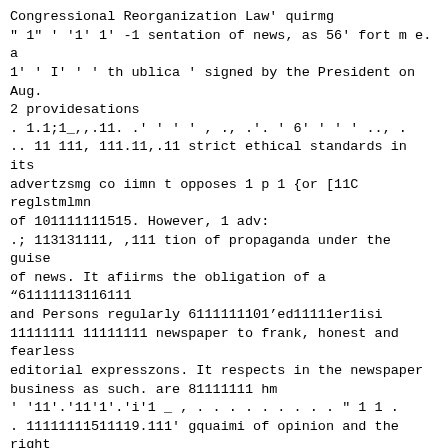Congressional Reorganization Law' quirmg
" 1" ' '1' 1' -1 sentation of news, as 56' fort m e. a
1' ' I' ' ' th ublica ' signed by the President on Aug.
2 providesations
. 1.1;1_,,.11. .' ' ' ' , ., .'. ' 6' ' ' ' .., .
.. 11 111, 111.11,.11 strict ethical standards in its
advertzsmg co iimn t opposes 1 p 1 {or [11C reglstmlmn
of 101111111515. However, 1 adv:
.; 113131111, ,111 tion of propaganda under the guise
of news. It afiirms the obligation of a "61111113116111
and Persons regularly 6111111101'ed11111er1isi
11111111 11111111 newspaper to frank, honest and fearless
editorial expresszons. It respects in the newspaper
business as such. are 81111111 hm
' '11'.'11'1'.'i'1 _ , . . . . . . . . . " 1 1 .
. 11111111511119.111' gquaimi of opinion and the right
of every individual to partzczpation in (mm [mm [hm
Provlmom 1 "ub11S1ll'
1'.'1' , 11.11411 ' . . ' ~ - . . 1 . .
11111 , 1 1'1 the Constitutional guarantee of Freedom
of the Press. It believes in the 1 1.. i .1 =e ublishe
$11-11 '1'1112 newspaper as a vital medium for civic,
economic, social, and cultural com- 5,1 0,, .\ug. 9 the
0,1),,\_ ruled that 11315.0 [est 1
4111-11111113 r ' ' .5 1 . 1 H; 2 . c1 ..,1 .
£11131; 1 11 17111113111 development and progress. piint
could be sold on in idJustiile prit 111\ of
"1'1 " "'11' 4 ing' basis" pending final determination
by Follov
11 1"1 111 ""1"" . the O.P.A. This action was taken to